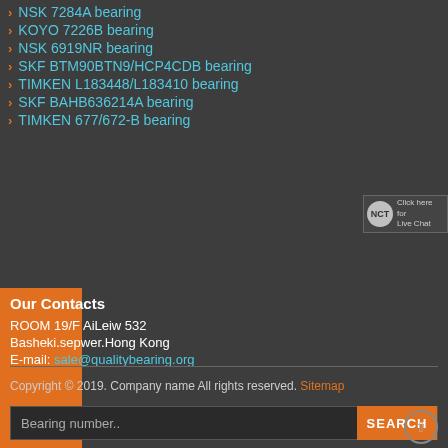> NSK 7284A bearing
> KOYO 7226B bearing
> NSK 6919NR bearing
> SKF BTM90BTN9/HCP4CDB bearing
> TIMKEN L183448/L183410 bearing
> SKF BAHB636214A bearing
> TIMKEN 677/672-B bearing
[Figure (screenshot): Live Chat button with NCT logo]
Our Contacts
ROOM 19/F AiLeiw 532
Basheki.sepwer.Hong Kong
E-mail: sale@qualitybearing.org
Copyright © 2019. Company name All rights reserved. Sitemap
Bearing number..  SEARCH